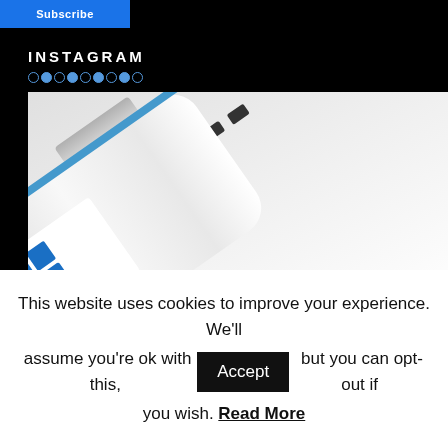Subscribe
INSTAGRAM
○●○●○●○●○
[Figure (photo): Close-up photo of a white USB flash drive with a blue Windows logo/branding on it, showing USB connector end]
This website uses cookies to improve your experience. We'll assume you're ok with this, Accept but you can opt-out if you wish. Read More